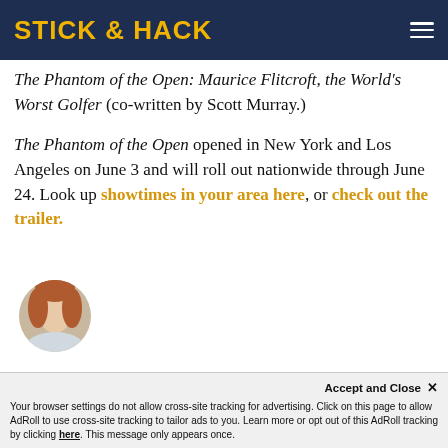STICK & HACK
role as Elisa Esposito in The Shape of Water. Phantom of the Open is directed by Craig … Simon Farnaby from his book The Phantom of The Open: Maurice Flitcroft, the World's Worst Golfer (co-written by Scott Murray.)
The Phantom of the Open opened in New York and Los Angeles on June 3 and will roll out nationwide through June 24. Look up showtimes in your area here, or check out the trailer.
[Figure (photo): Circular cropped portrait photo of a person with reddish-brown hair]
Accept and Close ×
Your browser settings do not allow cross-site tracking for advertising. Click on this page to allow AdRoll to use cross-site tracking to tailor ads to you. Learn more or opt out of this AdRoll tracking by clicking here. This message only appears once.